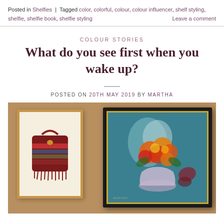Posted in Shelfies | Tagged color, colorful, colour, colour influencer, shelf styling, shelfie, shelfie book, shelfie styling   Leave a comment
COLOUR STORIES
What do you see first when you wake up?
POSTED ON 20TH MAY 2019 BY MARTHA
[Figure (photo): Two framed artworks hanging on a tan/beige wall. Left: a light wood frame containing a colorful textile/fabric bag with striped and embroidered pattern in reds, blues, and grays on a cream background. Right: a large dark/black frame with gold inner border containing an impressionist oil painting of orange and red flowers in a white vase against a teal/blue background.]